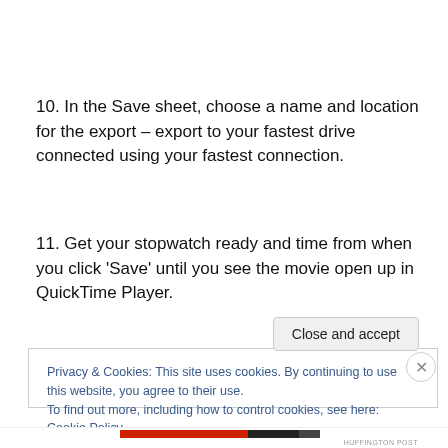10. In the Save sheet, choose a name and location for the export – export to your fastest drive connected using your fastest connection.
11. Get your stopwatch ready and time from when you click 'Save' until you see the movie open up in QuickTime Player.
Privacy & Cookies: This site uses cookies. By continuing to use this website, you agree to their use. To find out more, including how to control cookies, see here: Cookie Policy